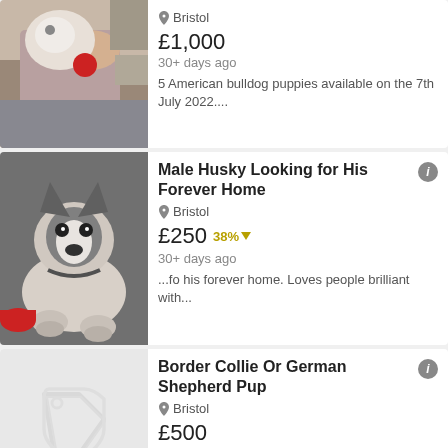[Figure (photo): Photo of a person with an American bulldog puppy, partial view]
Bristol
£1,000
30+ days ago
5 American bulldog puppies available on the 7th July 2022....
[Figure (photo): Photo of a male Husky dog lying on the floor]
Male Husky Looking for His Forever Home
Bristol
£250 38%
30+ days ago
...fo his forever home. Loves people brilliant with...
[Figure (other): Placeholder tag/price icon in light grey]
Border Collie Or German Shepherd Pup
Bristol
£500
30+ days ago
German shepherd or border collie wanted. Medium coat...